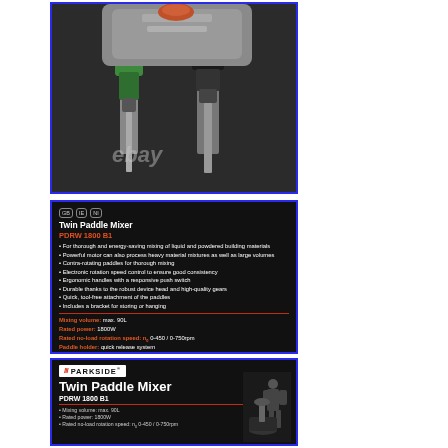[Figure (photo): Close-up photo of a Twin Paddle Mixer (PDRW 1800 B1) drill heads showing two chucks with attachments against a dark background. eBay watermark visible.]
[Figure (photo): Product specification sheet for Parkside Twin Paddle Mixer PDRW 1800 B1 on dark background. Lists features: thorough and energy-saving mixing, powerful motor, contra-rotating paddles, electronic speed control, ergonomic handles, durable device head, quick tool-free attachment, bracket included. Specs: Mixing volume max 90L, Rated power 1800W, Rated no-load rotation speed n0 0-450/0-750rpm, Paddle holder quick release system, Universal paddle 125mm each, Working diameter 210mm, Accessories included 2 paddles 1 bracket, Cable length approx 4m. eBay watermark visible.]
[Figure (photo): Parkside branded box showing Twin Paddle Mixer PDRW 1800 B1 with logo and product image of person using the mixer.]